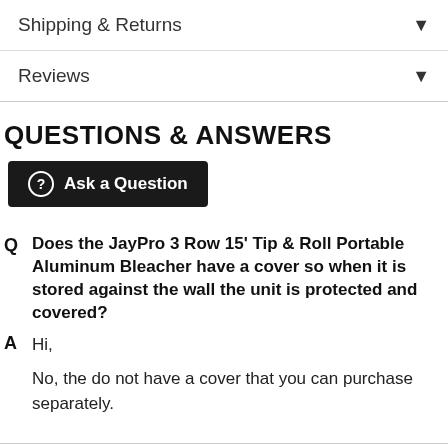Shipping & Returns
Reviews
QUESTIONS & ANSWERS
Ask a Question
Q  Does the JayPro 3 Row 15' Tip & Roll Portable Aluminum Bleacher have a cover so when it is stored against the wall the unit is protected and covered?
A  Hi,

No, the do not have a cover that you can purchase separately.
Related Products